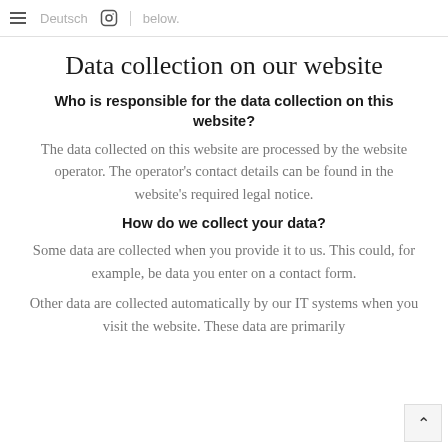≡ Deutsch [Instagram] Below:
Data collection on our website
Who is responsible for the data collection on this website?
The data collected on this website are processed by the website operator. The operator's contact details can be found in the website's required legal notice.
How do we collect your data?
Some data are collected when you provide it to us. This could, for example, be data you enter on a contact form.
Other data are collected automatically by our IT systems when you visit the website. These data are primarily